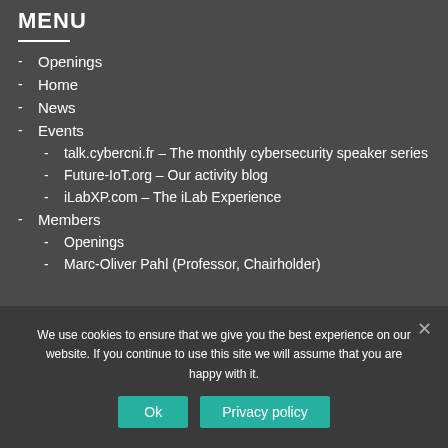MENU
- Openings
- Home
- News
- Events
- talk.cybercni.fr – The monthly cybersecurity speaker series
- Future-IoT.org – Our activity blog
- iLabXP.com – The iLab Experience
- Members
- Openings
- Marc-Oliver Pahl (Professor, Chairholder)
We use cookies to ensure that we give you the best experience on our website. If you continue to use this site we will assume that you are happy with it.
Ok    Privacy policy